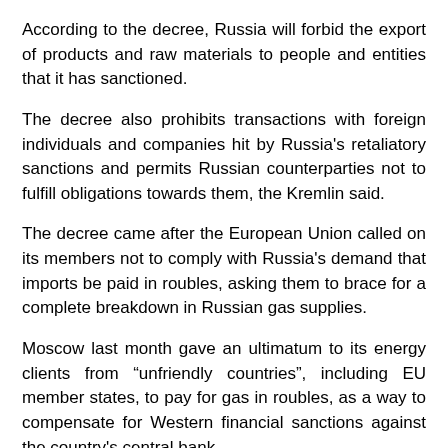According to the decree, Russia will forbid the export of products and raw materials to people and entities that it has sanctioned.
The decree also prohibits transactions with foreign individuals and companies hit by Russia's retaliatory sanctions and permits Russian counterparties not to fulfill obligations towards them, the Kremlin said.
The decree came after the European Union called on its members not to comply with Russia's demand that imports be paid in roubles, asking them to brace for a complete breakdown in Russian gas supplies.
Moscow last month gave an ultimatum to its energy clients from “unfriendly countries”, including EU member states, to pay for gas in roubles, as a way to compensate for Western financial sanctions against the country's central bank.
The EU’s top diplomat Josep Borrell said the sixth package of sanctions will target several banks including the country’s